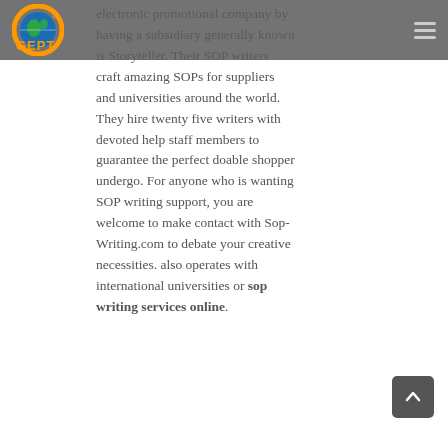GEPT logo and navigation menu
electronic promotional company by having a subsidiary generally known is Storyteller. Their SOP writers craft amazing SOPs for suppliers and universities around the world. They hire twenty five writers with devoted help staff members to guarantee the perfect doable shopper undergo. For anyone who is wanting SOP writing support, you are welcome to make contact with Sop-Writing.com to debate your creative necessities. also operates with international universities or sop writing services online.